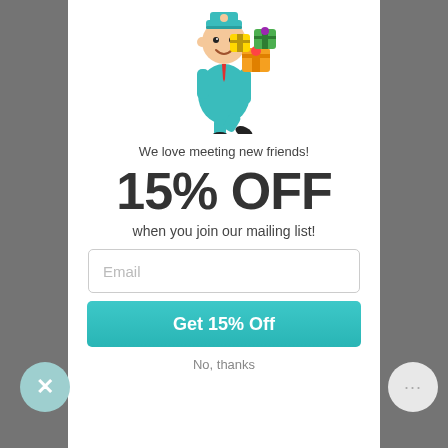[Figure (illustration): Cartoon mailman in teal uniform carrying colorful gift boxes]
We love meeting new friends!
15% OFF
when you join our mailing list!
Email
Get 15% Off
No, thanks